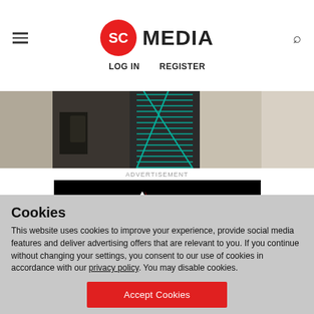SC MEDIA — LOG IN   REGISTER
[Figure (photo): Person holding a smartphone, partially visible torso, with teal/cyan grid graphic overlay in the center, bright background with staircase railing]
ADVERTISEMENT
[Figure (other): MSSP Alert Live banner advertisement on black background with red triangle logo]
Cookies
This website uses cookies to improve your experience, provide social media features and deliver advertising offers that are relevant to you. If you continue without changing your settings, you consent to our use of cookies in accordance with our privacy policy. You may disable cookies.
Accept Cookies